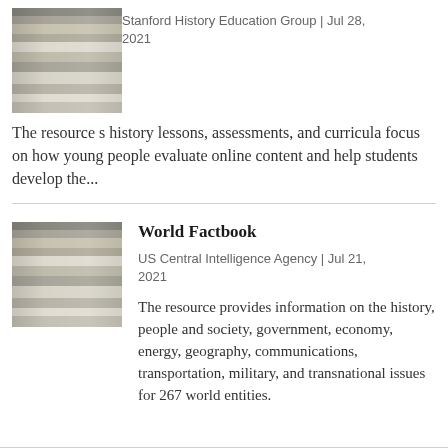[Figure (photo): Stack of books photograph, top card]
Stanford History Education Group | Jul 28, 2021
The resource s history lessons, assessments, and curricula focus on how young people evaluate online content and help students develop the...
[Figure (photo): Stack of books photograph, World Factbook card]
World Factbook
US Central Intelligence Agency | Jul 21, 2021
The resource provides information on the history, people and society, government, economy, energy, geography, communications, transportation, military, and transnational issues for 267 world entities.